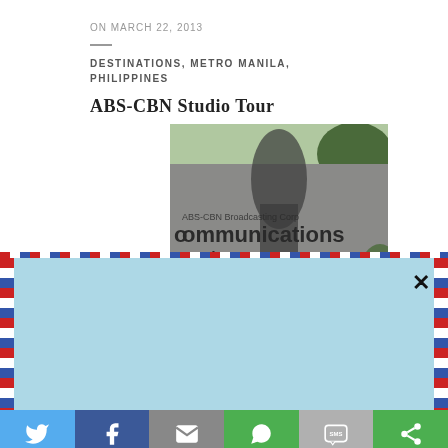ON MARCH 22, 2013
DESTINATIONS, METRO MANILA, PHILIPPINES
ABS-CBN Studio Tour
[Figure (photo): Photo of ABS-CBN Communications Center entrance sign on a grey wall with some greenery]
Read my stories first!
Enter your email
Subscribe